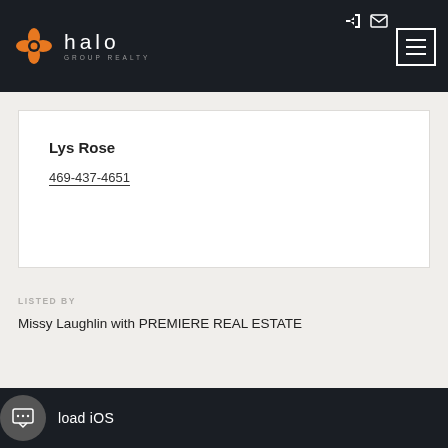halo GROUP REALTY
Lys Rose
469-437-4651
LISTED BY
Missy Laughlin with PREMIERE REAL ESTATE
load iOS